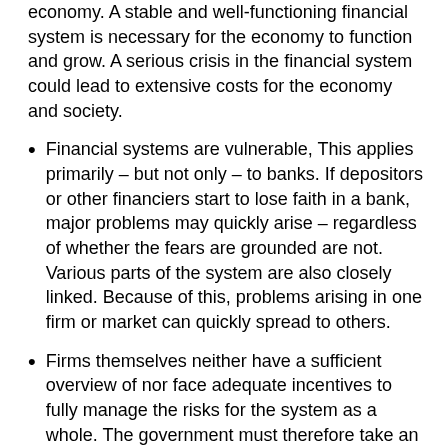economy. A stable and well-functioning financial system is necessary for the economy to function and grow. A serious crisis in the financial system could lead to extensive costs for the economy and society.
Financial systems are vulnerable, This applies primarily – but not only – to banks. If depositors or other financiers start to lose faith in a bank, major problems may quickly arise – regardless of whether the fears are grounded are not. Various parts of the system are also closely linked. Because of this, problems arising in one firm or market can quickly spread to others.
Firms themselves neither have a sufficient overview of nor face adequate incentives to fully manage the risks for the system as a whole. The government must therefore take an active role.
Supervision
The next important step for supervision is from…